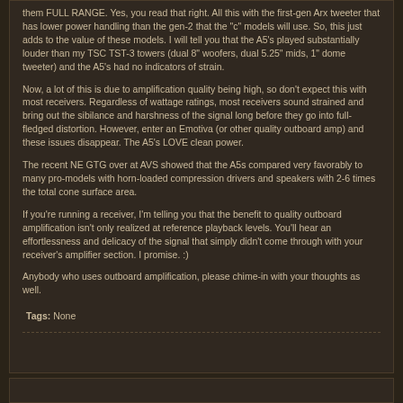them FULL RANGE. Yes, you read that right. All this with the first-gen Arx tweeter that has lower power handling than the gen-2 that the "c" models will use. So, this just adds to the value of these models. I will tell you that the A5's played substantially louder than my TSC TST-3 towers (dual 8" woofers, dual 5.25" mids, 1" dome tweeter) and the A5's had no indicators of strain.
Now, a lot of this is due to amplification quality being high, so don't expect this with most receivers. Regardless of wattage ratings, most receivers sound strained and bring out the sibilance and harshness of the signal long before they go into full-fledged distortion. However, enter an Emotiva (or other quality outboard amp) and these issues disappear. The A5's LOVE clean power.
The recent NE GTG over at AVS showed that the A5s compared very favorably to many pro-models with horn-loaded compression drivers and speakers with 2-6 times the total cone surface area.
If you're running a receiver, I'm telling you that the benefit to quality outboard amplification isn't only realized at reference playback levels. You'll hear an effortlessness and delicacy of the signal that simply didn't come through with your receiver's amplifier section. I promise. :)
Anybody who uses outboard amplification, please chime-in with your thoughts as well.
Tags: None